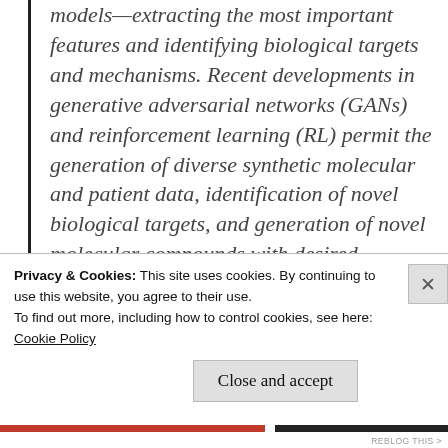models—extracting the most important features and identifying biological targets and mechanisms. Recent developments in generative adversarial networks (GANs) and reinforcement learning (RL) permit the generation of diverse synthetic molecular and patient data, identification of novel biological targets, and generation of novel molecular compounds with desired
Privacy & Cookies: This site uses cookies. By continuing to use this website, you agree to their use.
To find out more, including how to control cookies, see here:
Cookie Policy
Close and accept